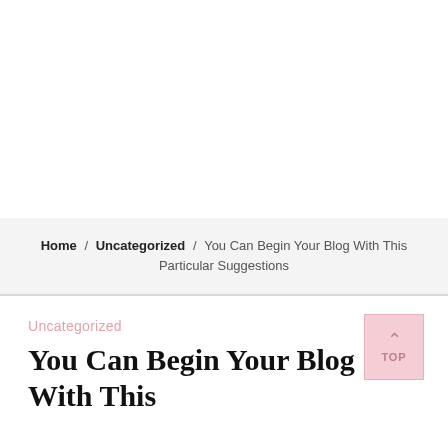Home / Uncategorized / You Can Begin Your Blog With This Particular Suggestions
Uncategorized
You Can Begin Your Blog With This